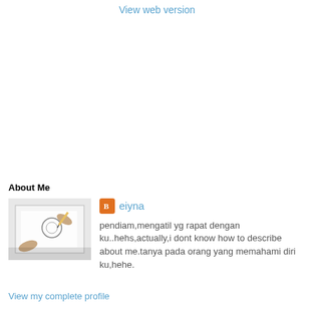View web version
About Me
[Figure (photo): A person drawing or writing on white paper, viewed from above, hands visible.]
eiyna
pendiam,mengatil yg rapat dengan ku..hehs,actually,i dont know how to describe about me.tanya pada orang yang memahami diri ku,hehe.
View my complete profile